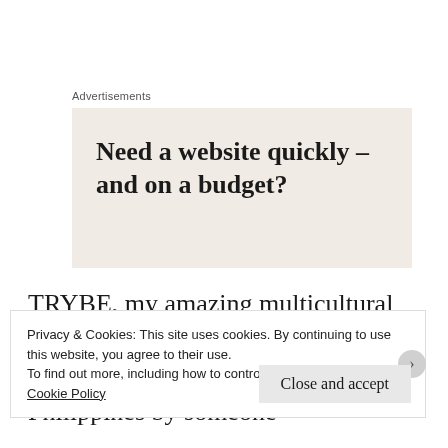Advertisements
[Figure (other): Advertisement box with beige/tan background containing the text: Need a website quickly – and on a budget?]
TRYBE, my amazing multicultural and hiphop dance group at Wheaton, was finally represented in the Philippines by someone
Privacy & Cookies: This site uses cookies. By continuing to use this website, you agree to their use.
To find out more, including how to control cookies, see here:
Cookie Policy
Close and accept